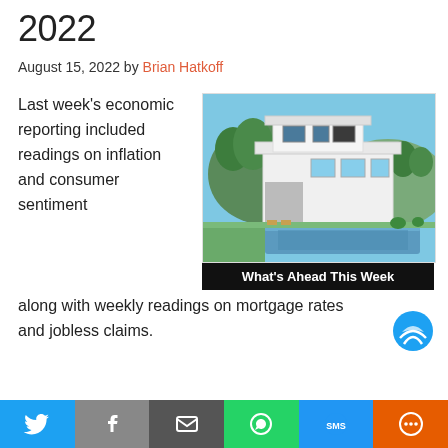What's Ahead For Mortgage Rates This Week – August 15, 2022
August 15, 2022 by Brian Hatkoff
Last week's economic reporting included readings on inflation and consumer sentiment along with weekly readings on mortgage rates and jobless claims.
[Figure (photo): Modern white house with swimming pool and lush greenery. Caption bar reads: What's Ahead This Week]